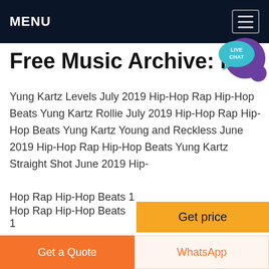MENU
Free Music Archive: Rap
Yung Kartz Levels July 2019 Hip-Hop Rap Hip-Hop Beats Yung Kartz Rollie July 2019 Hip-Hop Rap Hip-Hop Beats Yung Kartz Young and Reckless June 2019 Hip-Hop Rap Hip-Hop Beats Yung Kartz Straight Shot June 2019 Hip-Hop Rap Hip-Hop Beats 1
[Figure (screenshot): Get price yellow button]
[Figure (photo): Landscape photograph showing water, mountains and snow]
Get a Quote | WhatsApp